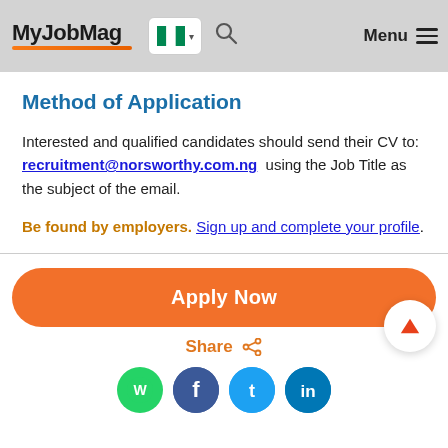MyJobMag [Nigeria flag] Menu
Method of Application
Interested and qualified candidates should send their CV to: recruitment@norsworthy.com.ng  using the Job Title as the subject of the email.
Be found by employers. Sign up and complete your profile.
Apply Now
Share